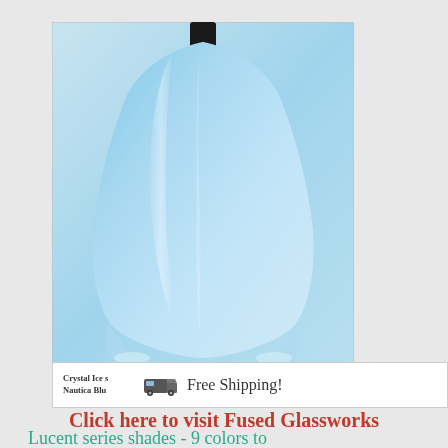[Figure (photo): A blue glass lamp shade (Lucent series) in light blue/cyan color with flowing organic shape, hanging from a black fitting. Photo shows the translucent blown glass shade with white highlights.]
[Figure (infographic): A small badge/banner showing 'Crystal Ice s / Nautica Blu' text on left, a truck icon in center, and 'Free Shipping!' text on right. White background with border.]
Lucent series shades - 9 colors to choose from!
$89.00
Click here to visit Fused Glassworks